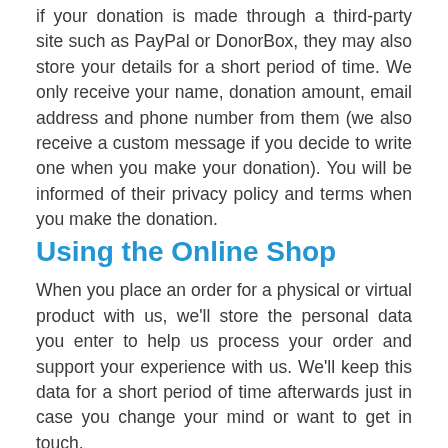if your donation is made through a third-party site such as PayPal or DonorBox, they may also store your details for a short period of time. We only receive your name, donation amount, email address and phone number from them (we also receive a custom message if you decide to write one when you make your donation). You will be informed of their privacy policy and terms when you make the donation.
Using the Online Shop
When you place an order for a physical or virtual product with us, we'll store the personal data you enter to help us process your order and support your experience with us. We'll keep this data for a short period of time afterwards just in case you change your mind or want to get in touch.
Your payment is managed separately through a payment vendor such as PayPal. Their privacy policy and